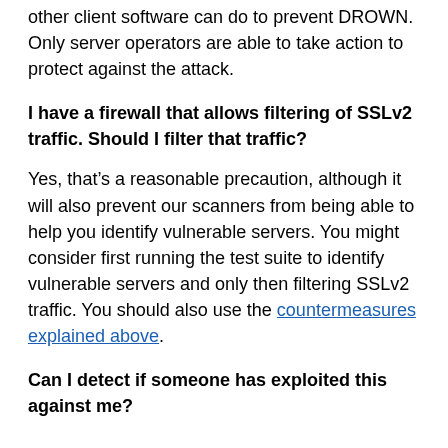other client software can do to prevent DROWN. Only server operators are able to take action to protect against the attack.
I have a firewall that allows filtering of SSLv2 traffic. Should I filter that traffic?
Yes, that's a reasonable precaution, although it will also prevent our scanners from being able to help you identify vulnerable servers. You might consider first running the test suite to identify vulnerable servers and only then filtering SSLv2 traffic. You should also use the countermeasures explained above.
Can I detect if someone has exploited this against me?